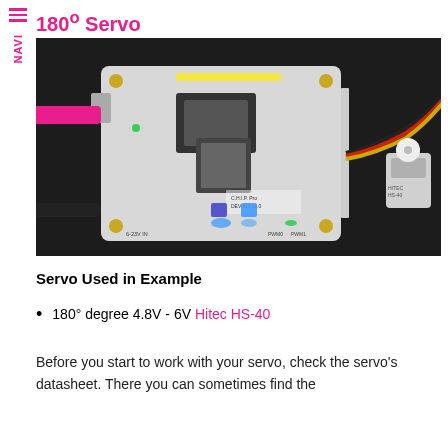180° Servo
[Figure (photo): Photo of a C.H.I.P. Pro Dev Kit v1.0 microcontroller board on a dark surface, with a pink USB cable plugged in on the left, a black cable on the lower left, a 3-wire servo cable (black, red, yellow) connected on the right going to a small Hitec HS-40 servo motor with a white cross horn attached.]
Servo Used in Example
180° degree 4.8V - 6V Hitec HS-40
Before you start to work with your servo, check the servo's datasheet. There you can sometimes find the